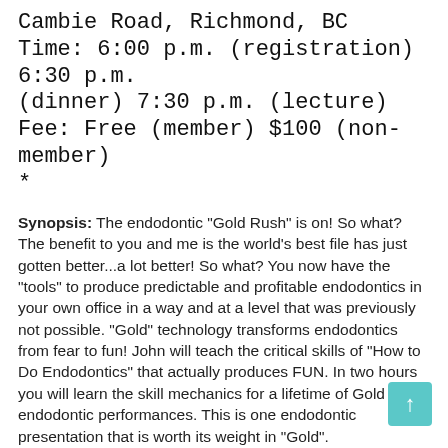Cambie Road, Richmond, BC
Time: 6:00 p.m. (registration) 6:30 p.m. (dinner) 7:30 p.m. (lecture)
Fee: Free (member) $100 (non-member)
*
Synopsis: The endodontic "Gold Rush" is on! So what? The benefit to you and me is the world's best file has just gotten better...a lot better! So what? You now have the "tools" to produce predictable and profitable endodontics in your own office in a way and at a level that was previously not possible. "Gold" technology transforms endodontics from fear to fun! John will teach the critical skills of "How to Do Endodontics" that actually produces FUN. In two hours you will learn the skill mechanics for a lifetime of Gold Metal endodontic performances. This is one endodontic presentation that is worth its weight in "Gold".
The Clinician: Dr. John West, DDS, MSD As the founder and director of the Center for Endodontics, British-born Dr. John...